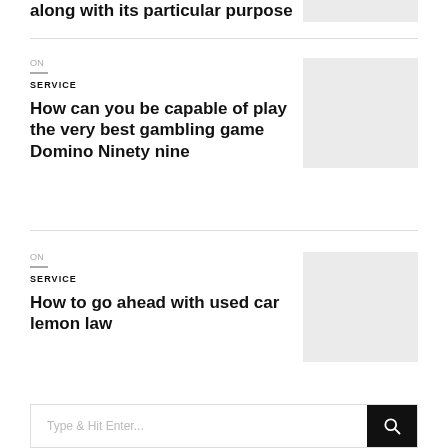along with its particular purpose
ON
SERVICE
How can you be capable of play the very best gambling game Domino Ninety nine
[Figure (other): Placeholder image rectangle]
ON
SERVICE
How to go ahead with used car lemon law
[Figure (other): Placeholder image rectangle]
Type & Hit Enter...